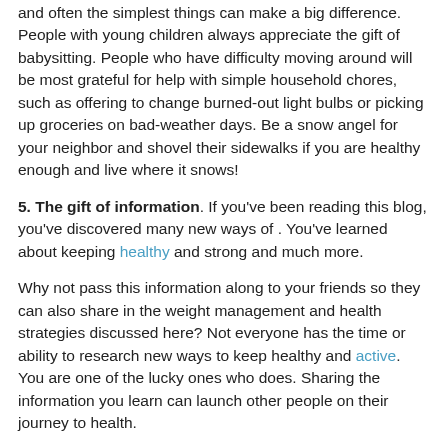and often the simplest things can make a big difference. People with young children always appreciate the gift of babysitting. People who have difficulty moving around will be most grateful for help with simple household chores, such as offering to change burned-out light bulbs or picking up groceries on bad-weather days. Be a snow angel for your neighbor and shovel their sidewalks if you are healthy enough and live where it snows!
5. The gift of information. If you've been reading this blog, you've discovered many new ways of . You've learned about keeping healthy and strong and much more.
Why not pass this information along to your friends so they can also share in the weight management and health strategies discussed here? Not everyone has the time or ability to research new ways to keep healthy and active. You are one of the lucky ones who does. Sharing the information you learn can launch other people on their journey to health.
6. The gift of humor: Laughter draws people together. If you stop to think about it, how many times a day do you laugh? S...